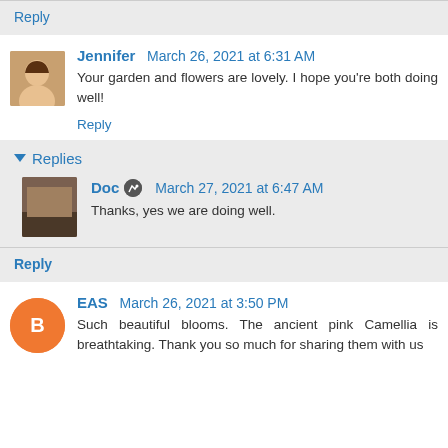Reply
Jennifer  March 26, 2021 at 6:31 AM
Your garden and flowers are lovely. I hope you're both doing well!
Reply
Replies
Doc  March 27, 2021 at 6:47 AM
Thanks, yes we are doing well.
Reply
EAS  March 26, 2021 at 3:50 PM
Such beautiful blooms. The ancient pink Camellia is breathtaking. Thank you so much for sharing them with us